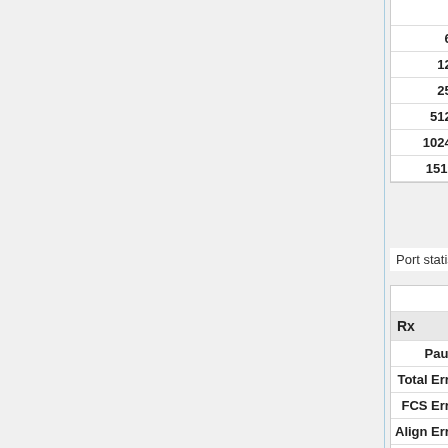|  | Port1 | Port2 |
| --- | --- | --- |
| 64 | 711989 | 27420 |
| 65-127 | 2068282 | 21116 |
| 128-255 | 67887 | 36993 |
| 256-511 | 516006 | 49727 |
| 512-1023 | 1904 | 1703 |
| 1024-1518 | 1994 | 60 |
| 1519-max | 0 | 0 |
Port statistics
|  | Port1 | Port2 |
| --- | --- | --- |
| Rx |  |  |
| Pauses | 0 | 0 |
| Total Errors | 0 | 0 |
| FCS Errors | 0 | 0 |
| Align Errors | 0 | 0 |
| Runts | 0 | 0 |